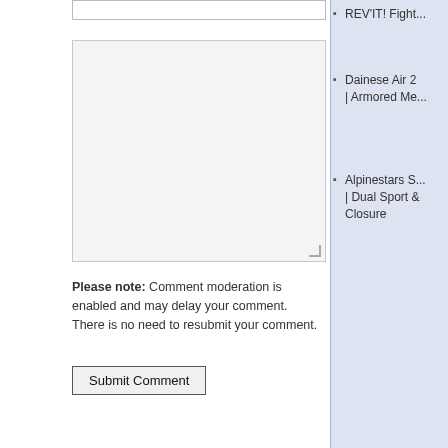Website
Please note: Comment moderation is enabled and may delay your comment. There is no need to resubmit your comment.
Submit Comment
REV'IT! Fight...
Dainese Air 2 | Armored Me...
Alpinestars S... | Dual Sport & Closure